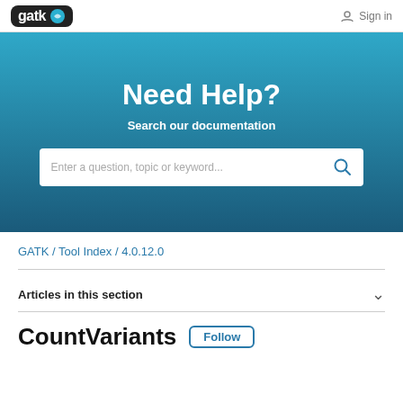GATK logo / Sign in
[Figure (screenshot): GATK help portal hero section with 'Need Help?' heading, 'Search our documentation' subtitle, and a search bar reading 'Enter a question, topic or keyword...']
GATK / Tool Index / 4.0.12.0
Articles in this section
CountVariants